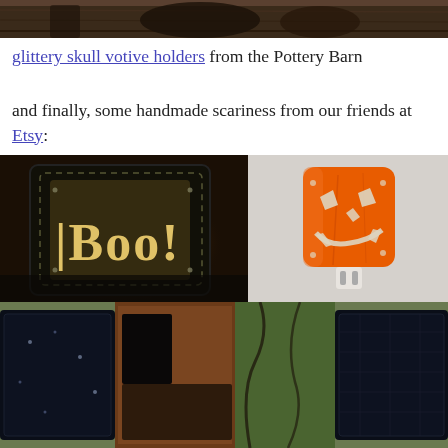[Figure (photo): Partial top image of what appears to be a dark wooden shelf or surface, cropped at the top of the page]
glittery skull votive holders from the Pottery Barn
and finally, some handmade scariness from our friends at Etsy:
[Figure (photo): Left image: A black metal lantern with cutout letters spelling 'Boo!' glowing with warm light inside, set on a dark wooden surface]
[Figure (photo): Right image: An orange metal cylindrical night light with a jack-o-lantern face cutout, plugged into a wall outlet]
[Figure (photo): Bottom image: Dark Halloween-themed glass blocks or tiles with greenish frames, showing spooky designs]